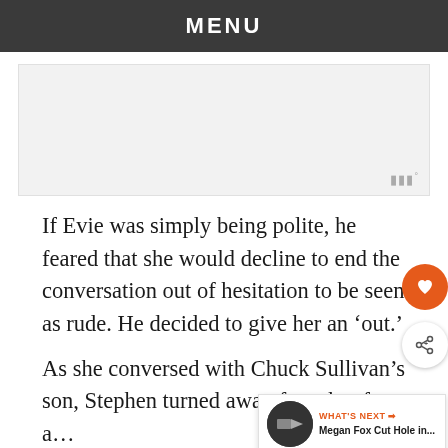MENU
[Figure (other): Advertisement placeholder area with volume/audio icon in bottom right corner]
If Evie was simply being polite, he feared that she would decline to end the conversation out of hesitation to be seen as rude. He decided to give her an ‘out.’
As she conversed with Chuck Sullivan’s son, Stephen turned away from her for a… He actually intentionally looked at his watch a… comes to
[Figure (other): WHAT'S NEXT panel showing Megan Fox Cut Hole in... with thumbnail]
[Figure (other): Bottom advertisement banner: You can help hungry kids. NO KID HUNGRY LEARN HOW]